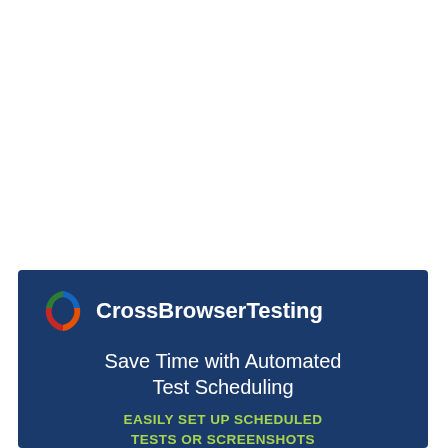[Figure (logo): CrossBrowserTesting advertisement banner on dark blue background. Contains the CrossBrowserTesting logo (circular multi-color icon) with company name, tagline 'Save Time with Automated Test Scheduling', and subtext 'EASILY SET UP SCHEDULED TESTS OR SCREENSHOTS' in green.]